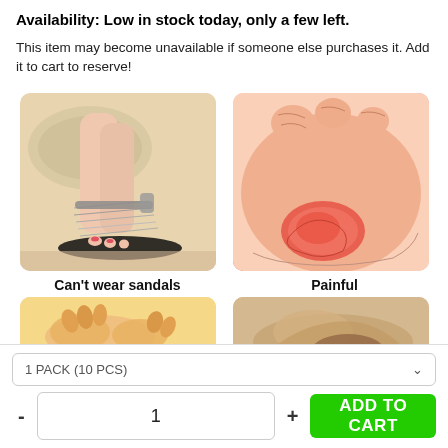Availability: Low in stock today, only a few left.
This item may become unavailable if someone else purchases it. Add it to cart to reserve!
[Figure (photo): Photo of silver strappy flat sandals worn on a woman's feet, with a beige cushioned background]
Can't wear sandals
[Figure (illustration): Illustration of a foot/toe with a painful red bunion or blister, skin-toned cartoon style]
Painful
[Figure (photo): Partial photo showing hands massaging a foot, yellow background]
[Figure (photo): Partial photo showing an ankle or foot area, tan/beige tones]
1 PACK (10 PCS)
1
ADD TO CART